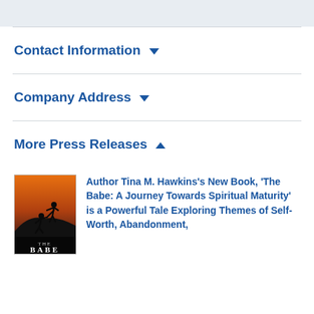Contact Information
Company Address
More Press Releases
[Figure (illustration): Book cover of 'The Babe' showing silhouette figures climbing a hill at sunset with orange and dark sky tones, title text 'THE BABE' at bottom]
Author Tina M. Hawkins's New Book, 'The Babe: A Journey Towards Spiritual Maturity' is a Powerful Tale Exploring Themes of Self-Worth, Abandonment,